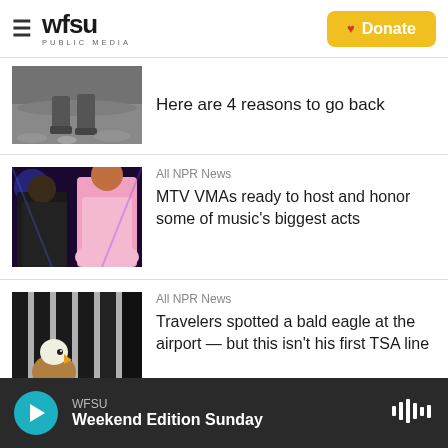WFSU PUBLIC MEDIA — Donate
Here are 4 reasons to go back
All NPR News
MTV VMAs ready to host and honor some of music's biggest acts
All NPR News
Travelers spotted a bald eagle at the airport — but this isn't his first TSA line
WFSU — Weekend Edition Sunday